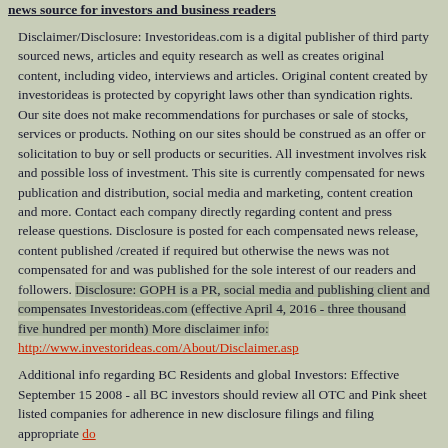news source for investors and business readers
Disclaimer/Disclosure: Investorideas.com is a digital publisher of third party sourced news, articles and equity research as well as creates original content, including video, interviews and articles. Original content created by investorideas is protected by copyright laws other than syndication rights. Our site does not make recommendations for purchases or sale of stocks, services or products. Nothing on our sites should be construed as an offer or solicitation to buy or sell products or securities. All investment involves risk and possible loss of investment. This site is currently compensated for news publication and distribution, social media and marketing, content creation and more. Contact each company directly regarding content and press release questions. Disclosure is posted for each compensated news release, content published /created if required but otherwise the news was not compensated for and was published for the sole interest of our readers and followers. Disclosure: GOPH is a PR, social media and publishing client and compensates Investorideas.com (effective April 4, 2016 - three thousand five hundred per month) More disclaimer info: http://www.investorideas.com/About/Disclaimer.asp
Additional info regarding BC Residents and global Investors: Effective September 15 2008 - all BC investors should review all OTC and Pink sheet listed companies for adherence in new disclosure filings and filing appropriate documents with Sedar. Read for more info: http://www.bcsc.bc.ca/